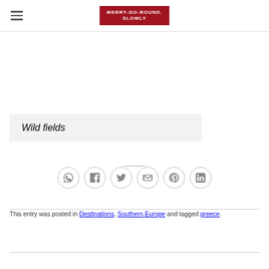MERRY-GO-ROUND. SLOWLY
Wild fields
[Figure (other): Social sharing icons: WhatsApp, Facebook, Twitter, Email, Pinterest, LinkedIn — each in a circle outline]
This entry was posted in Destinations, Southern Europe and tagged greece.